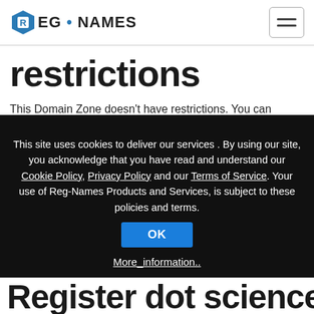REG • NAMES
restrictions
This Domain Zone doesn't have restrictions. You can register any Domain Name here.
Website address may include letters, numbers and hyphens. And that is all, no other characters are
This site uses cookies to deliver our services . By using our site, you acknowledge that you have read and understand our Cookie Policy, Privacy Policy and our Terms of Service. Your use of Reg-Names Products and Services, is subject to these policies and terms.
OK
More_information..
Register dot science